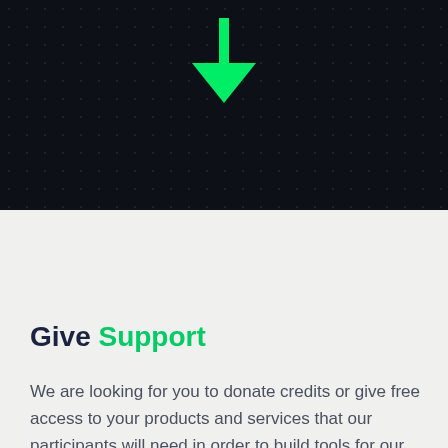[Figure (illustration): Dark starfield/night sky background with a bright green downward-pointing arrow centered near the top]
Give Support
We are looking for you to donate credits or give free access to your products and services that our participants will need in order to build tools for our